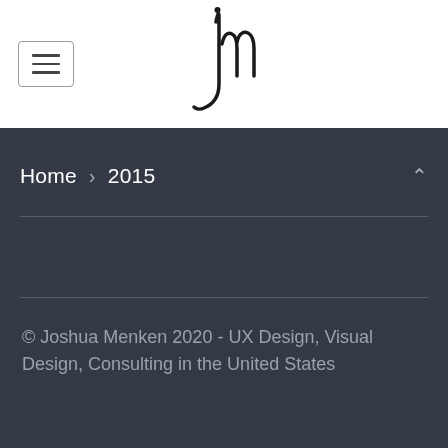[Figure (logo): Handwritten 'jm' signature logo in black ink]
Home > 2015
© Joshua Menken 2020 - UX Design, Visual Design, Consulting in the United States